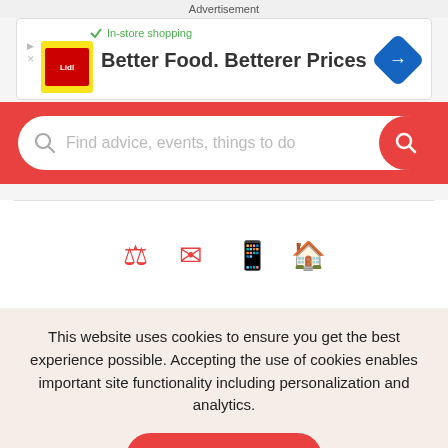Advertisement
[Figure (screenshot): Lidl advertisement banner: checkmark with 'In-store shopping', Lidl logo on yellow background, text 'Better Food. Betterer Prices', blue diamond navigation arrow icon]
Find advice, events, things to do
[Figure (screenshot): Four red navigation/category icons in a horizontal row]
This website uses cookies to ensure you get the best experience possible. Accepting the use of cookies enables important site functionality including personalization and analytics.
Accept
Decline